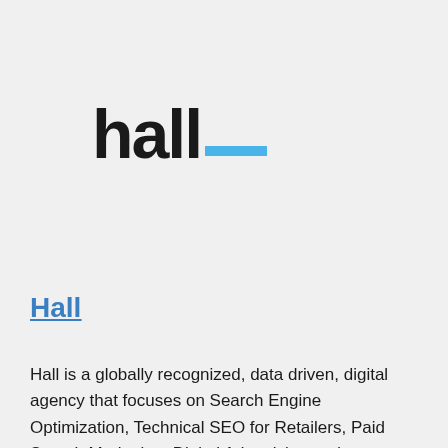[Figure (logo): Hall company logo — the word 'hall' in bold black sans-serif with a blue horizontal underscore/dash element to the right]
Hall
Hall is a globally recognized, data driven, digital agency that focuses on Search Engine Optimization, Technical SEO for Retailers, Paid Search Marketing, Digital Advertising and Retargeting, Web...